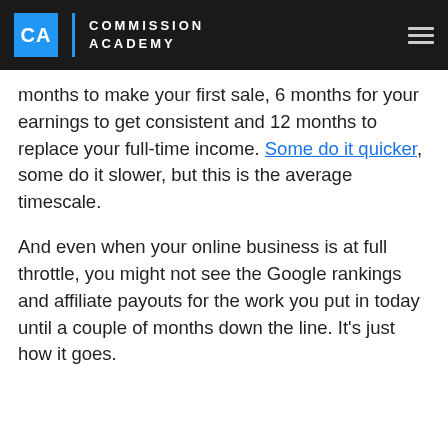CA COMMISSION ACADEMY
months to make your first sale, 6 months for your earnings to get consistent and 12 months to replace your full-time income. Some do it quicker, some do it slower, but this is the average timescale.
And even when your online business is at full throttle, you might not see the Google rankings and affiliate payouts for the work you put in today until a couple of months down the line. It’s just how it goes.